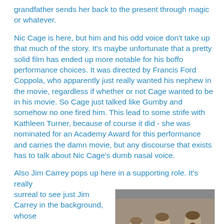grandfather sends her back to the present through magic or whatever.
Nic Cage is here, but him and his odd voice don't take up that much of the story. It's maybe unfortunate that a pretty solid film has ended up more notable for his boffo performance choices. It was directed by Francis Ford Coppola, who apparently just really wanted his nephew in the movie, regardless if whether or not Cage wanted to be in his movie. So Cage just talked like Gumby and somehow no one fired him. This lead to some strife with Kathleen Turner, because of course it did - she was nominated for an Academy Award for this performance and carries the damn movie, but any discourse that exists has to talk about Nic Cage's dumb nasal voice.
Also Jim Carrey pops up here in a supporting role. It's really surreal to see just Jim Carrey in the background, whose
[Figure (photo): A photo of three young men in formal/suit attire appearing to be singing or performing, likely from a film scene.]